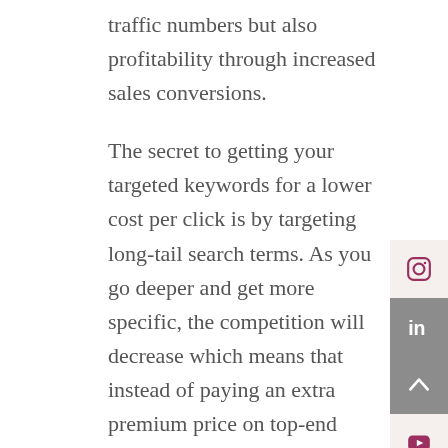traffic numbers but also profitability through increased sales conversions.
The secret to getting your targeted keywords for a lower cost per click is by targeting long-tail search terms. As you go deeper and get more specific, the competition will decrease which means that instead of paying an extra premium price on top-end rankings with less traffic volume–you only pay when your keyword actually match specific needs.
The Advantages of Using Long-tail Keywords
Better Personalization for Your